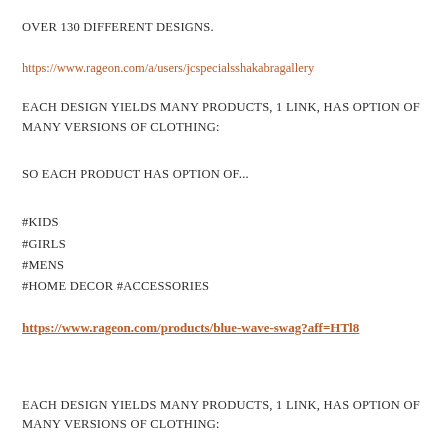OVER 130 DIFFERENT DESIGNS.
https://www.rageon.com/a/users/jcspecialsshakabragallery
EACH DESIGN YIELDS MANY PRODUCTS, 1 LINK, HAS OPTION OF MANY VERSIONS OF CLOTHING:
SO EACH PRODUCT HAS OPTION OF...
#KIDS
#GIRLS
#MENS
#HOME DECOR #ACCESSORIES
https://www.rageon.com/products/blue-wave-swag?aff=HTl8
EACH DESIGN YIELDS MANY PRODUCTS, 1 LINK, HAS OPTION OF MANY VERSIONS OF CLOTHING: